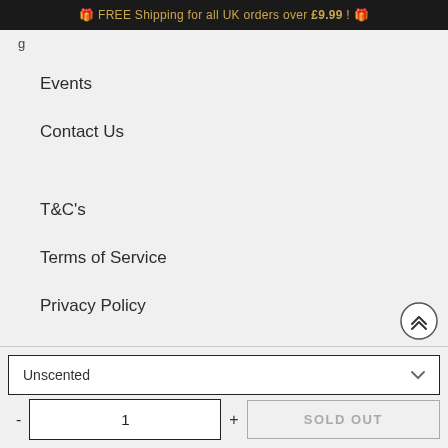🎁 FREE Shipping for all UK orders over £9.99 ! 🎁
Events
Contact Us
T&C's
Terms of Service
Privacy Policy
Unscented
1
SOLD OUT